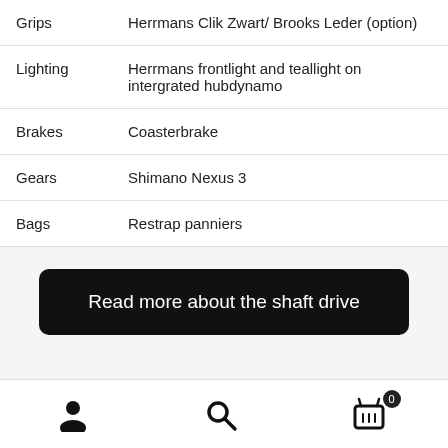| Grips | Herrmans Clik Zwart/ Brooks Leder (option) |
| Lighting | Herrmans frontlight and teallight on intergrated hubdynamo |
| Brakes | Coasterbrake |
| Gears | Shimano Nexus 3 |
| Bags | Restrap panniers |
Read more about the shaft drive
[Figure (other): Bottom navigation bar with user icon, search icon, and shopping cart icon with badge showing 0]